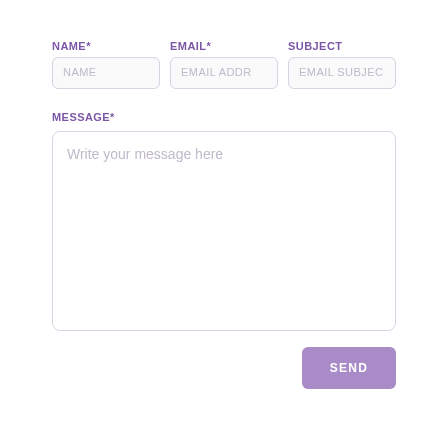NAME*
EMAIL*
SUBJECT
NAME
EMAIL ADDR
EMAIL SUBJECT
MESSAGE*
Write your message here
SEND